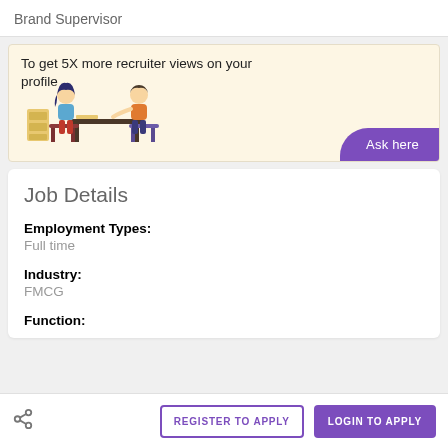Brand Supervisor
[Figure (illustration): Promotional banner with illustration of two people sitting at a desk, one with a laptop. Text reads 'To get 5X more recruiter views on your profile' with a purple 'Ask here' button.]
Job Details
Employment Types:
Full time
Industry:
FMCG
Function:
REGISTER TO APPLY   LOGIN TO APPLY